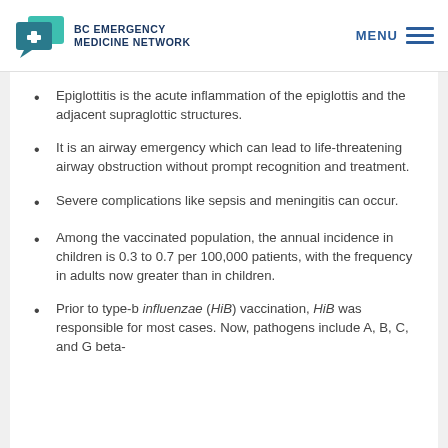BC EMERGENCY MEDICINE NETWORK
Epiglottitis is the acute inflammation of the epiglottis and the adjacent supraglottic structures.
It is an airway emergency which can lead to life-threatening airway obstruction without prompt recognition and treatment.
Severe complications like sepsis and meningitis can occur.
Among the vaccinated population, the annual incidence in children is 0.3 to 0.7 per 100,000 patients, with the frequency in adults now greater than in children.
Prior to type-b influenzae (HiB) vaccination, HiB was responsible for most cases. Now, pathogens include A, B, C, and G beta-